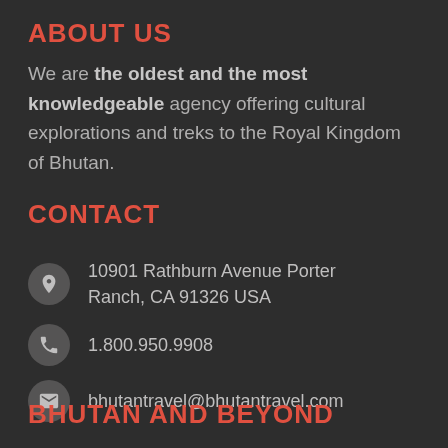ABOUT US
We are the oldest and the most knowledgeable agency offering cultural explorations and treks to the Royal Kingdom of Bhutan.
CONTACT
10901 Rathburn Avenue Porter Ranch, CA 91326 USA
1.800.950.9908
bhutantravel@bhutantravel.com
BHUTAN AND BEYOND